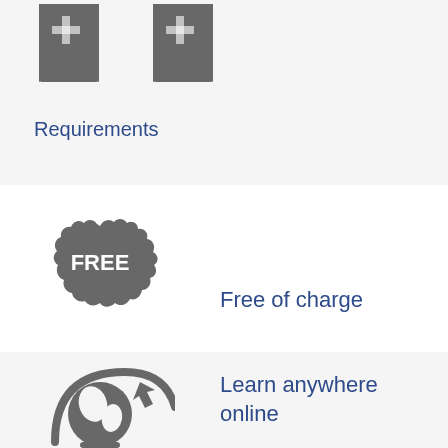[Figure (illustration): Two gray bookmark/ribbon icons side by side representing requirements]
Requirements
[Figure (illustration): Gray badge/seal icon with 'FREE' text in white, representing free of charge]
Free of charge
Cost
[Figure (illustration): Gray globe with graduation cap icon representing learning online]
Learn anywhere online